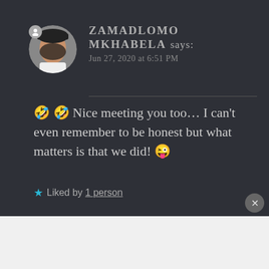[Figure (photo): Circular profile photo of a woman wearing a dark cap, in front of a white/grey background]
ZAMADLOMO MKHABELA says:
Jun 27, 2020 at 6:51 PM
🤣 🤣 Nice meeting you too… I can't even remember to be honest but what matters is that we did! 😜
★ Liked by 1 person
Advertisements
Getting your team on the same page is easy. And free.